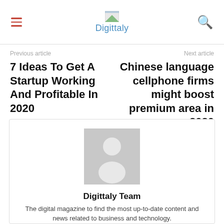Digittaly
Previous article
7 Ideas To Get A Startup Working And Profitable In 2020
Next article
Chinese language cellphone firms might boost premium area in 2020
[Figure (illustration): Avatar placeholder image showing a generic person silhouette on a grey background]
Digittaly Team
The digital magazine to find the most up-to-date content and news related to business and technology.